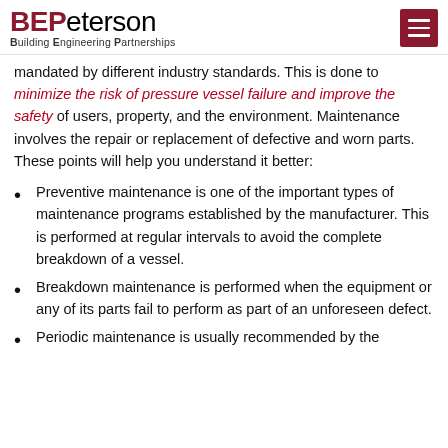BEPeterson — Building Engineering Partnerships
mandated by different industry standards. This is done to minimize the risk of pressure vessel failure and improve the safety of users, property, and the environment. Maintenance involves the repair or replacement of defective and worn parts. These points will help you understand it better:
Preventive maintenance is one of the important types of maintenance programs established by the manufacturer. This is performed at regular intervals to avoid the complete breakdown of a vessel.
Breakdown maintenance is performed when the equipment or any of its parts fail to perform as part of an unforeseen defect.
Periodic maintenance is usually recommended by the